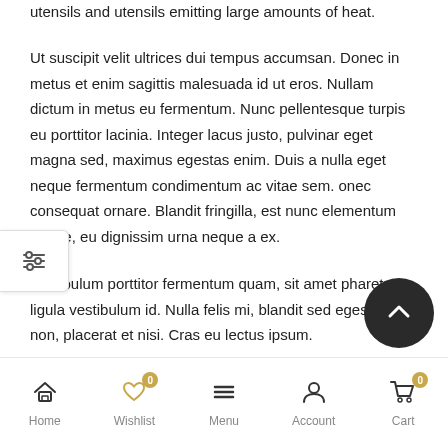utensils and utensils emitting large amounts of heat.
Ut suscipit velit ultrices dui tempus accumsan. Donec in metus et enim sagittis malesuada id ut eros. Nullam dictum in metus eu fermentum. Nunc pellentesque turpis eu porttitor lacinia. Integer lacus justo, pulvinar eget magna sed, maximus egestas enim. Duis a nulla eget neque fermentum condimentum ac vitae sem. onec consequat ornare. Blandit fringilla, est nunc elementum augue, eu dignissim urna neque a ex.
Vestibulum porttitor fermentum quam, sit amet pharetra ligula vestibulum id. Nulla felis mi, blandit sed egestas non, placerat et nisi. Cras eu lectus ipsum.
Home  Wishlist  Menu  Account  Cart